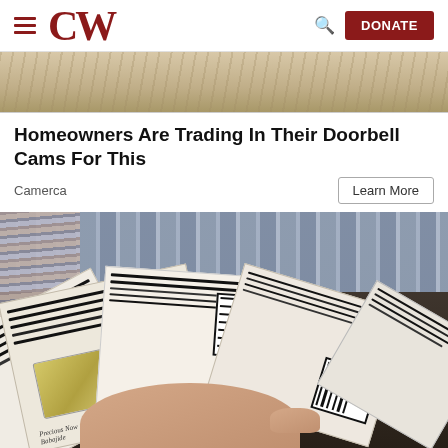CW [logo] | DONATE
[Figure (photo): Partial top image showing a textured background, cropped]
Homeowners Are Trading In Their Doorbell Cams For This
Camerca
Learn More
[Figure (photo): Photo of a hand holding a fan of printed photographs or documents with handwritten text and barcode-like marks, with hanging clothes visible in background]